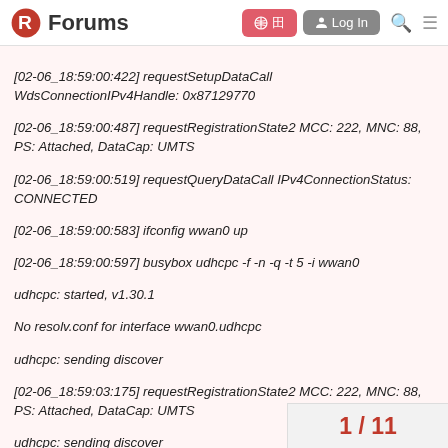Forums
[02-06_18:59:00:422] requestSetupDataCall WdsConnectionIPv4Handle: 0x87129770
[02-06_18:59:00:487] requestRegistrationState2 MCC: 222, MNC: 88, PS: Attached, DataCap: UMTS
[02-06_18:59:00:519] requestQueryDataCall IPv4ConnectionStatus: CONNECTED
[02-06_18:59:00:583] ifconfig wwan0 up
[02-06_18:59:00:597] busybox udhcpc -f -n -q -t 5 -i wwan0
udhcpc: started, v1.30.1
No resolv.conf for interface wwan0.udhcpc
udhcpc: sending discover
[02-06_18:59:03:175] requestRegistrationState2 MCC: 222, MNC: 88, PS: Attached, DataCap: UMTS
udhcpc: sending discover
udhcpc: sending discover
udhcpc: sending discover
udhcpc: sending discover
udhcpc: no lease, failing
I press control+c
1 / 11